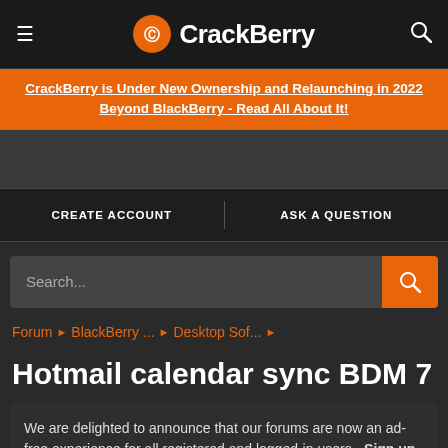CrackBerry
CrackBerry is Under New Ownership and Relaunching in 2022 Beyond BlackBerry - Read All About It!
CREATE ACCOUNT   ASK A QUESTION
Search...
Forum > BlackBerry ... > Desktop Sof... >
Hotmail calendar sync BDM 7
We are delighted to announce that our forums are now an ad-free experience for all registered and logged-in users - Sign up here today!